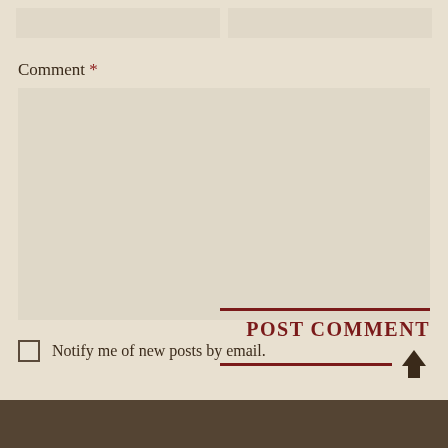Comment *
[Figure (other): Empty comment text area input box with beige/tan background]
Notify me of new posts by email.
POST COMMENT
[Figure (other): Dark silhouette image strip at bottom of page]